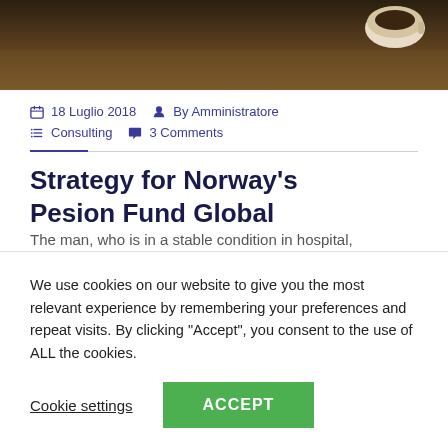[Figure (photo): Partial photo showing a dark background with a coffee cup visible in the upper right corner, warm brown tones]
18 Luglio 2018   By Amministratore   Consulting   3 Comments
Strategy for Norway's Pesion Fund Global
The man, who is in a stable condition in hospital,
We use cookies on our website to give you the most relevant experience by remembering your preferences and repeat visits. By clicking "Accept", you consent to the use of ALL the cookies.
Cookie settings   ACCEPT